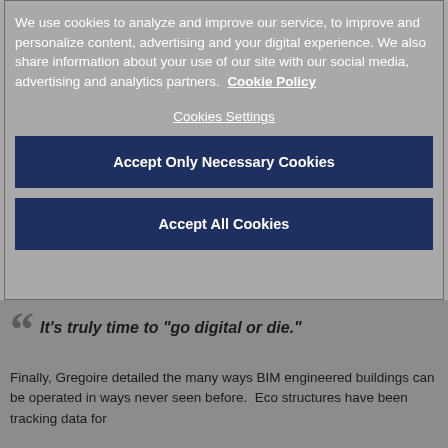We use cookies to analyze and improve our service, to improve and personalize content, advertising and your digital experience. We also share information about your use of our site with our social media, advertising and analytics partners.  Cookie Policy
Cookies Settings
Accept Only Necessary Cookies
Accept All Cookies
It’s truly time to “go digital or die.”
Finally, Gregoire detailed the many ways BIM engineered buildings can be operated in ways never seen before.  Eco structures have been tracking data for